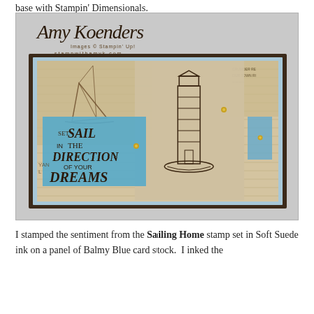base with Stampin' Dimensionals.
[Figure (photo): A handmade greeting card featuring a lighthouse stamped image on sandy/tan card stock, layered with nautical-themed patterned paper, a blue card stock panel with 'SET SAIL IN THE DIRECTION OF YOUR DREAMS' sentiment stamped in Soft Suede ink, gold brads, and a dark brown base. The card is displayed on a gray background with an 'Amy Koenders' watermark overlay and stampwithamyk.com URL.]
I stamped the sentiment from the Sailing Home stamp set in Soft Suede ink on a panel of Balmy Blue card stock.  I inked the